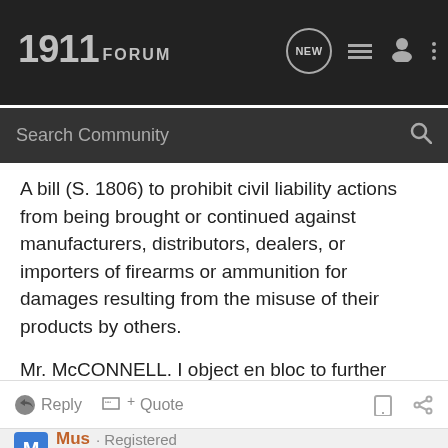1911FORUM
A bill (S. 1806) to prohibit civil liability actions from being brought or continued against manufacturers, distributors, dealers, or importers of firearms or ammunition for damages resulting from the misuse of their products by others.

Mr. McCONNELL. I object en bloc to further proceedings on these measures at this time.

The PRESIDING OFFICER. Under the rule, the bills will be placed on the calendar.
Reply   Quote
Mus · Registered